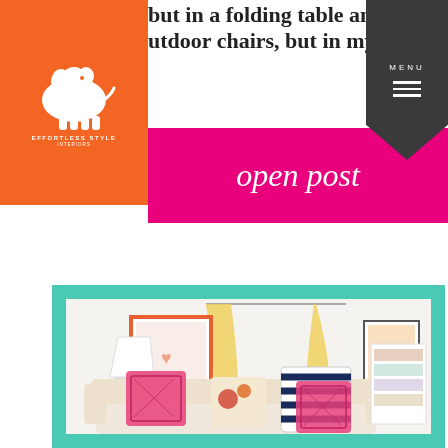but in a folding table and plas... outdoor chairs, but in my mi...
[Figure (logo): Effortless Style Interiors logo: white elephant silhouette on orange background with text EFFORTLESS STYLE INTERIORS]
[Figure (other): Dark grey banner with MENU label and three horizontal lines (hamburger menu icon)]
open post
[Figure (photo): Interior living room photo with teal frame border. Room features a cream sofa with pink geometric pillows, navy striped pillow, yellow curtains, a lamp, framed artwork, and colorful accessories on a white background.]